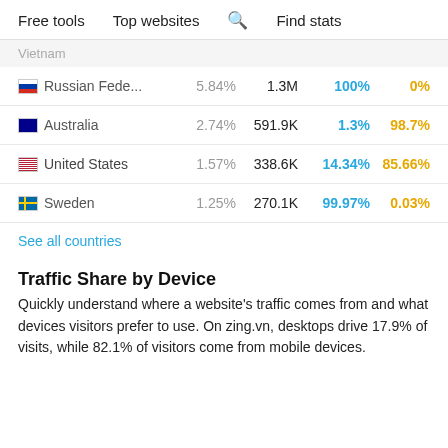Free tools   Top websites   Find stats
Vietnam
| Country | % Share | Visits | Desktop | Mobile |
| --- | --- | --- | --- | --- |
| Russian Fede... | 5.84% | 1.3M | 100% | 0% |
| Australia | 2.74% | 591.9K | 1.3% | 98.7% |
| United States | 1.57% | 338.6K | 14.34% | 85.66% |
| Sweden | 1.25% | 270.1K | 99.97% | 0.03% |
See all countries
Traffic Share by Device
Quickly understand where a website's traffic comes from and what devices visitors prefer to use. On zing.vn, desktops drive 17.9% of visits, while 82.1% of visitors come from mobile devices.